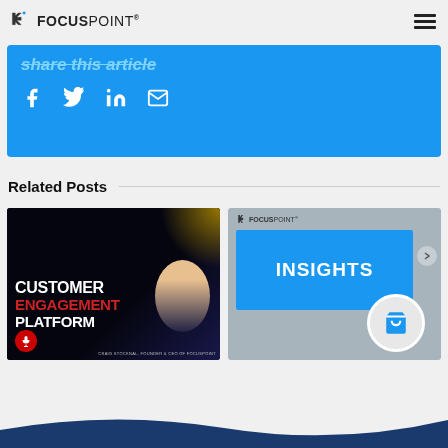FocusPoint (logo) — hamburger menu icon
share this article
Social share icons: Facebook, Twitter, LinkedIn, Email
Related Posts
[Figure (photo): Customer Engagement Platform promotional image featuring Craig Stocknal, Founder & CEO of FocusPoint, with text: CUSTOMER ENGAGEMENT PLATFORM]
[Figure (screenshot): FocusPoint Insights promotional card with FocusPoint logo, blue INSIGHTS panel, and shopping cart graphic. Arrow navigation button on right side.]